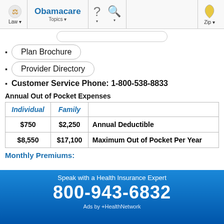Obamacare — Law | Topics | ? | Search | Zip
Plan Brochure
Provider Directory
Customer Service Phone: 1-800-538-8833
Annual Out of Pocket Expenses
| Individual | Family |  |
| --- | --- | --- |
| $750 | $2,250 | Annual Deductible |
| $8,550 | $17,100 | Maximum Out of Pocket Per Year |
Monthly Premiums:
[Figure (other): Ad banner: Speak with a Health Insurance Expert 800-943-6832 Ads by +HealthNetwork]